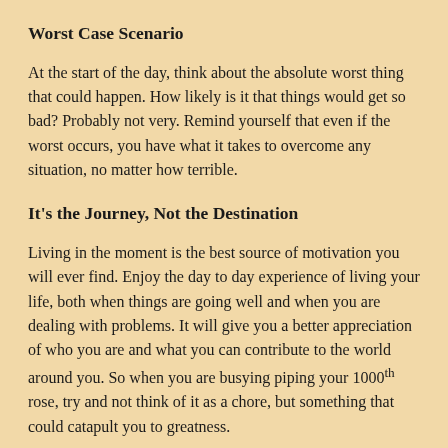Worst Case Scenario
At the start of the day, think about the absolute worst thing that could happen. How likely is it that things would get so bad? Probably not very. Remind yourself that even if the worst occurs, you have what it takes to overcome any situation, no matter how terrible.
It’s the Journey, Not the Destination
Living in the moment is the best source of motivation you will ever find. Enjoy the day to day experience of living your life, both when things are going well and when you are dealing with problems. It will give you a better appreciation of who you are and what you can contribute to the world around you. So when you are busying piping your 1000th rose, try and not think of it as a chore, but something that could catapult you to greatness.